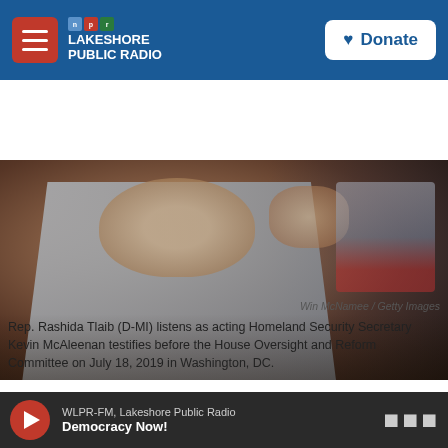NPR Lakeshore Public Radio — Donate
[Figure (photo): Rep. Rashida Tlaib listening at a congressional hearing, wearing a grey blazer]
Win McNamee / Getty Images
Rep. Rashida Tlaib (D-MI) listens as acting Homeland Security Secretary Kevin McAleenan testifies before the House Oversight and Reform Committee on July 18, 2019 in Washington, DC.
In a highly unusual move straying far from political protocol, Rep. Rashida Tlaib delivered a progressive response to Democrat President Biden's first State of the Union address.
WLPR-FM, Lakeshore Public Radio — Democracy Now!